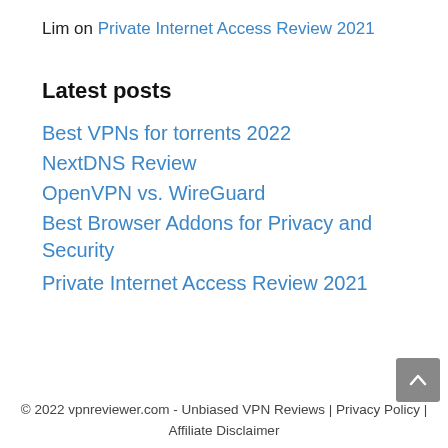Lim on Private Internet Access Review 2021
Latest posts
Best VPNs for torrents 2022
NextDNS Review
OpenVPN vs. WireGuard
Best Browser Addons for Privacy and Security
Private Internet Access Review 2021
© 2022 vpnreviewer.com - Unbiased VPN Reviews | Privacy Policy | Affiliate Disclaimer